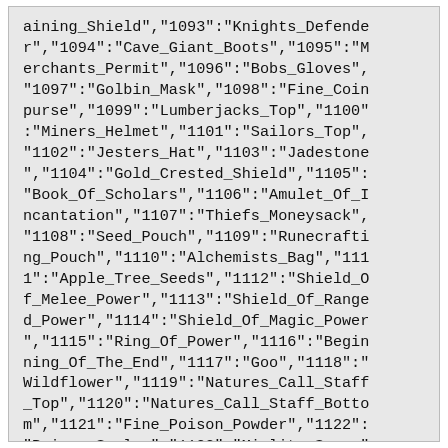aining_Shield","1093":"Knights_Defender","1094":"Cave_Giant_Boots","1095":"Merchants_Permit","1096":"Bobs_Gloves","1097":"Golbin_Mask","1098":"Fine_Coinpurse","1099":"Lumberjacks_Top","1100":"Miners_Helmet","1101":"Sailors_Top","1102":"Jesters_Hat","1103":"Jadestone","1104":"Gold_Crested_Shield","1105":"Book_Of_Scholars","1106":"Amulet_Of_Incantation","1107":"Thiefs_Moneysack","1108":"Seed_Pouch","1109":"Runecrafting_Pouch","1110":"Alchemists_Bag","1111":"Apple_Tree_Seeds","1112":"Shield_Of_Melee_Power","1113":"Shield_Of_Ranged_Power","1114":"Shield_Of_Magic_Power","1115":"Ring_Of_Power","1116":"Beginning_Of_The_End","1117":"Goo","1118":"Wildflower","1119":"Natures_Call_Staff_Top","1120":"Natures_Call_Staff_Bottom","1121":"Fine_Poison_Powder","1122":"Poison_Scales","1123":"Miolite_Spore"